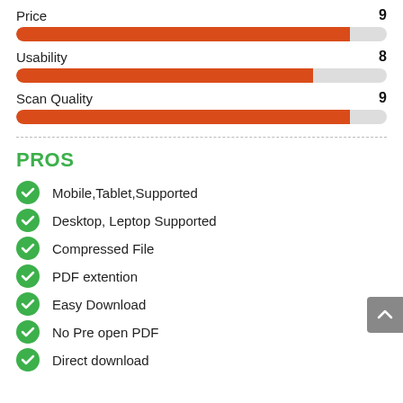Price 9
[Figure (bar-chart): Price]
Usability 8
[Figure (bar-chart): Usability]
Scan Quality 9
[Figure (bar-chart): Scan Quality]
PROS
Mobile,Tablet,Supported
Desktop, Leptop Supported
Compressed File
PDF extention
Easy Download
No Pre open PDF
Direct download